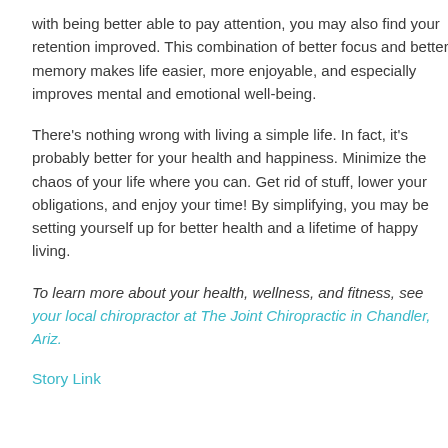with being better able to pay attention, you may also find your retention improved. This combination of better focus and better memory makes life easier, more enjoyable, and especially improves mental and emotional well-being.
There's nothing wrong with living a simple life. In fact, it's probably better for your health and happiness. Minimize the chaos of your life where you can. Get rid of stuff, lower your obligations, and enjoy your time! By simplifying, you may be setting yourself up for better health and a lifetime of happy living.
To learn more about your health, wellness, and fitness, see your local chiropractor at The Joint Chiropractic in Chandler, Ariz.
Story Link